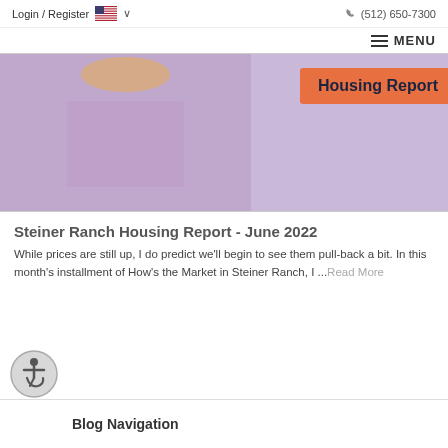Login / Register  🇺🇸 ∨   (512) 650-7300
≡ MENU
[Figure (photo): A man in a lavender short-sleeve button-up shirt standing with arms behind his back, with an orange banner reading 'Housing Report' in the upper right portion of the image.]
Steiner Ranch Housing Report - June 2022
While prices are still up, I do predict we'll begin to see them pull-back a bit. In this month's installment of How's the Market in Steiner Ranch, I ...Read More
[Figure (illustration): Accessibility icon button — circular grey button with wheelchair user symbol]
Blog Navigation